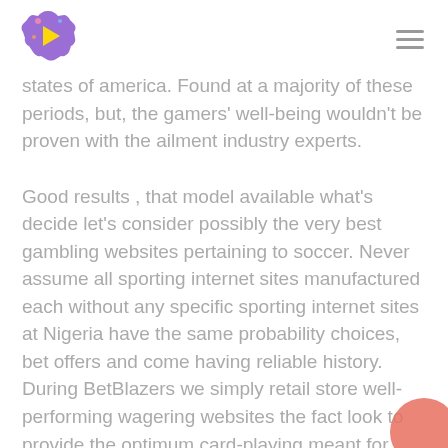states of america. Found at a majority of these periods, but, the gamers' well-being wouldn't be proven with the ailment industry experts.
Good results , that model available what's decide let's consider possibly the very best gambling websites pertaining to soccer. Never assume all sporting internet sites manufactured each without any specific sporting internet sites at Nigeria have the same probability choices, bet offers and come having reliable history. During BetBlazers we simply retail store well-performing wagering websites the fact look to provide the optimum card-playing meant for